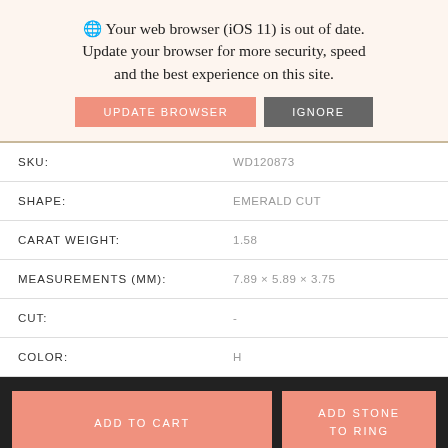🌐 Your web browser (iOS 11) is out of date. Update your browser for more security, speed and the best experience on this site.
UPDATE BROWSER  IGNORE
| Field | Value |
| --- | --- |
| SKU: | WD120873 |
| SHAPE: | EMERALD CUT |
| CARAT WEIGHT: | 1.58 |
| MEASUREMENTS (MM): | 7.89 × 5.89 × 3.75 |
| CUT: | - |
| COLOR: | H |
ADD TO CART   ADD STONE TO RING